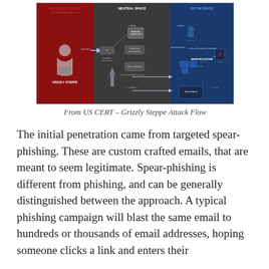[Figure (infographic): Grizzly Steppe Attack Flow diagram from US CERT showing three zones: Adversary Space (red, left), Neutral Space (dark grey, center), and Victim Space (blue, right). Shows spear-phishing attack flow with icons for email drafts, credential stealing, targeted systems, and data exfiltration. Features a hacker figure labeled 'GRIZZLY STEPPE' in the adversary space.]
From US CERT – Grizzly Steppe Attack Flow
The initial penetration came from targeted spear-phishing. These are custom crafted emails, that are meant to seem legitimate. Spear-phishing is different from phishing, and can be generally distinguished between the approach. A typical phishing campaign will blast the same email to hundreds or thousands of email addresses, hoping someone clicks a link and enters their